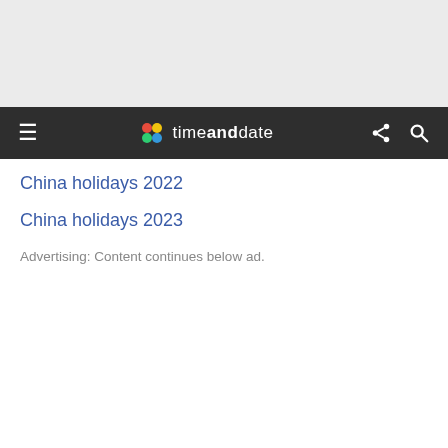[Figure (other): Gray advertisement placeholder banner at the top of the page]
timeanddate — navigation bar with hamburger menu, logo, share and search icons
China holidays 2022
China holidays 2023
Advertising: Content continues below ad.